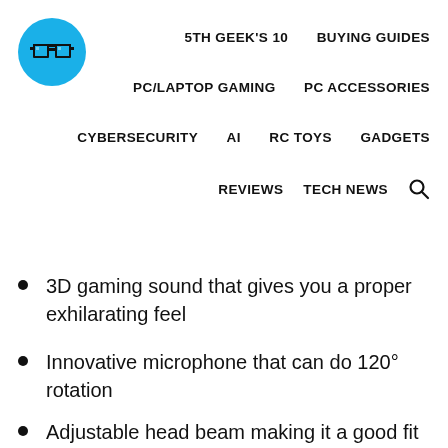[Figure (logo): Blue circle logo with pixel-art glasses icon (5th Geek brand logo)]
5TH GEEK'S 10   BUYING GUIDES
PC/LAPTOP GAMING   PC ACCESSORIES
CYBERSECURITY   AI   RC TOYS   GADGETS
REVIEWS   TECH NEWS   🔍
3D gaming sound that gives you a proper exhilarating feel
Innovative microphone that can do 120° rotation
Adjustable head beam making it a good fit